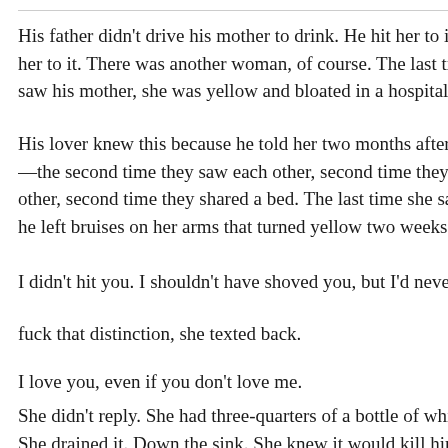His father didn't drive his mother to drink. He hit her to it. A her to it. There was another woman, of course. The last tim saw his mother, she was yellow and bloated in a hospital b
His lover knew this because he told her two months after th —the second time they saw each other, second time they t other, second time they shared a bed. The last time she sa he left bruises on her arms that turned yellow two weeks la
I didn't hit you. I shouldn't have shoved you, but I'd never h
fuck that distinction, she texted back.
I love you, even if you don't love me.
She didn't reply. She had three-quarters of a bottle of whis She drained it. Down the sink. She knew it would kill him if drank like that.